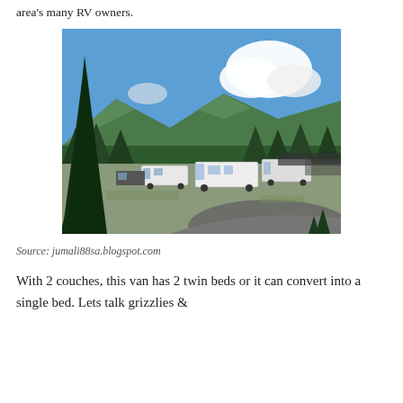area's many RV owners.
[Figure (photo): Aerial view of an RV park with multiple motorhomes and trailers parked, surrounded by tall evergreen trees and green forested mountains under a partly cloudy blue sky.]
Source: jumali88sa.blogspot.com
With 2 couches, this van has 2 twin beds or it can convert into a single bed. Lets talk grizzlies &